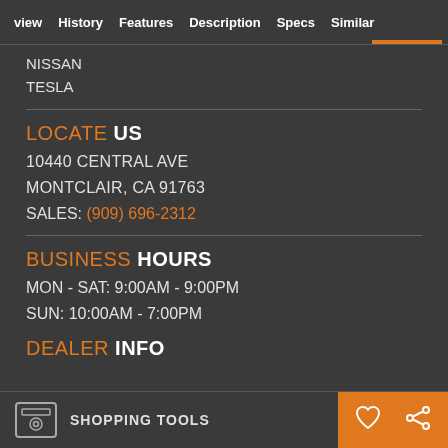view  History  Features  Description  Specs  Similar
NISSAN
TESLA
LOCATE US
10440 CENTRAL AVE
MONTCLAIR, CA 91763
SALES: (909) 696-2312
BUSINESS HOURS
MON - SAT: 9:00AM - 9:00PM
SUN: 10:00AM - 7:00PM
DEALER INFO
SHOPPING TOOLS